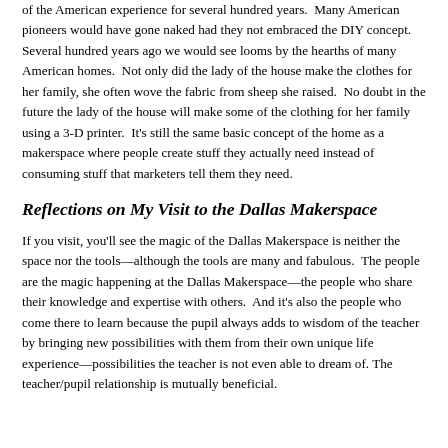of the American experience for several hundred years. Many American pioneers would have gone naked had they not embraced the DIY concept. Several hundred years ago we would see looms by the hearths of many American homes. Not only did the lady of the house make the clothes for her family, she often wove the fabric from sheep she raised. No doubt in the future the lady of the house will make some of the clothing for her family using a 3-D printer. It's still the same basic concept of the home as a makerspace where people create stuff they actually need instead of consuming stuff that marketers tell them they need.
Reflections on My Visit to the Dallas Makerspace
If you visit, you'll see the magic of the Dallas Makerspace is neither the space nor the tools—although the tools are many and fabulous. The people are the magic happening at the Dallas Makerspace—the people who share their knowledge and expertise with others. And it's also the people who come there to learn because the pupil always adds to wisdom of the teacher by bringing new possibilities with them from their own unique life experience—possibilities the teacher is not even able to dream of. The teacher/pupil relationship is mutually beneficial.